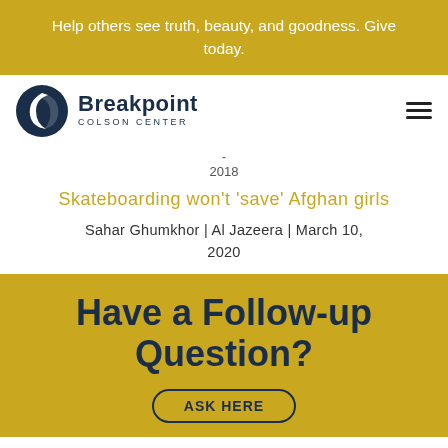Help others see truth, beauty, and goodness. Give today.
[Figure (logo): Breakpoint Colson Center logo with circular moon/person icon and bold text]
- 2018
Skateboarding won't 'save' Afghan girls
Sahar Ghumkhor | Al Jazeera | March 10, 2020
Have a Follow-up Question?
ASK HERE